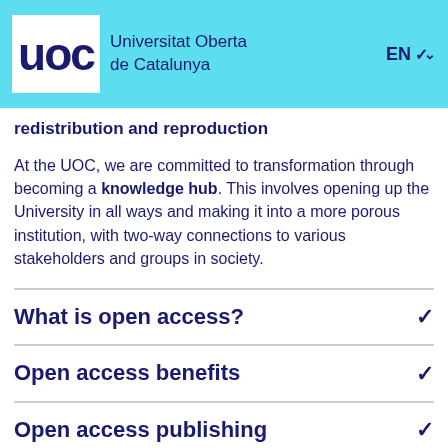UOC Universitat Oberta de Catalunya EN
redistribution and reproduction
At the UOC, we are committed to transformation through becoming a knowledge hub. This involves opening up the University in all ways and making it into a more porous institution, with two-way connections to various stakeholders and groups in society.
What is open access?
Open access benefits
Open access publishing